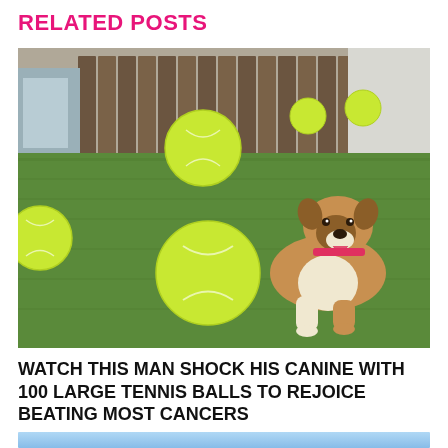RELATED POSTS
[Figure (photo): A boxer dog sitting on green grass in a backyard surrounded by multiple oversized yellow-green tennis balls, with a wooden fence in the background.]
WATCH THIS MAN SHOCK HIS CANINE WITH 100 LARGE TENNIS BALLS TO REJOICE BEATING MOST CANCERS
[Figure (photo): Partial view of another image at the bottom, showing a light blue sky or outdoor scene.]